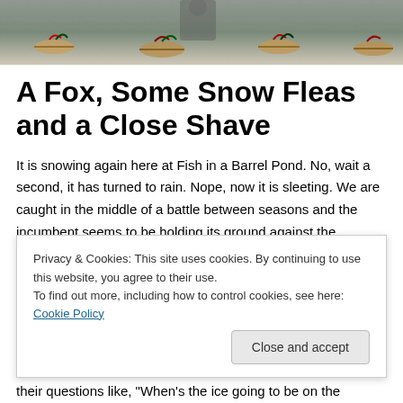[Figure (photo): Header image showing fishing flies and outdoor scene at top of page]
A Fox, Some Snow Fleas and a Close Shave
It is snowing again here at Fish in a Barrel Pond. No, wait a second, it has turned to rain. Nope, now it is sleeting. We are caught in the middle of a battle between seasons and the incumbent seems to be holding its ground against the usurper. But winter can not stay forever and signs of it departing are beginning to
Privacy & Cookies: This site uses cookies. By continuing to use this website, you agree to their use.
To find out more, including how to control cookies, see here: Cookie Policy
their questions like, "When's the ice going to be on the